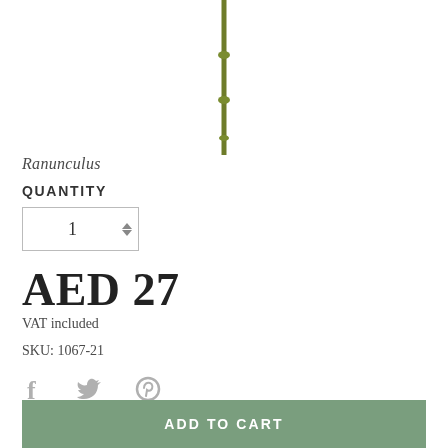[Figure (photo): A single green flower stem (ranunculus) against white background, showing the stalk with nodes]
Ranunculus
QUANTITY
1
AED 27
VAT included
SKU: 1067-21
[Figure (illustration): Social share icons: Facebook, Twitter, Pinterest in grey]
ADD TO CART